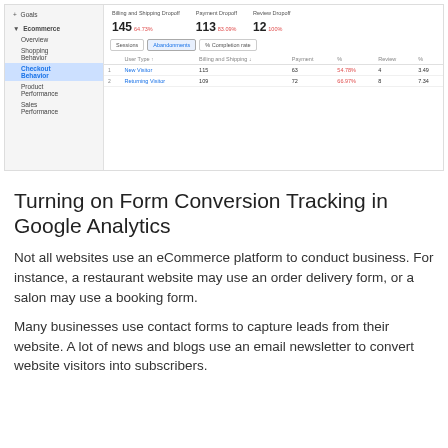[Figure (screenshot): Google Analytics Ecommerce Checkout Behavior report showing navigation panel on the left with Ecommerce section expanded (Overview, Shopping Behavior, Checkout Behavior selected, Product Performance, Sales Performance), and main panel showing Billing and Shipping Dropoff: 145 (64.73%), Payment Dropoff: 113 (83.09%), Review Dropoff: 12 (100%), with a table segmented by User Type showing New Visitor (115, 63, 54.78%, 4, 3.49) and Returning Visitor (109, 72, 66.97%, 8, 7.34)]
Turning on Form Conversion Tracking in Google Analytics
Not all websites use an eCommerce platform to conduct business. For instance, a restaurant website may use an order delivery form, or a salon may use a booking form.
Many businesses use contact forms to capture leads from their website. A lot of news and blogs use an email newsletter to convert website visitors into subscribers.